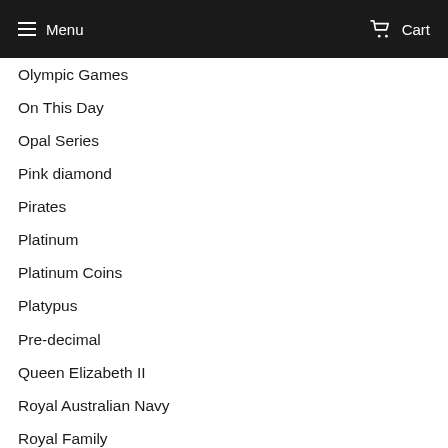Menu  Cart
Olympic Games
On This Day
Opal Series
Pink diamond
Pirates
Platinum
Platinum Coins
Platypus
Pre-decimal
Queen Elizabeth II
Royal Australian Navy
Royal Family
Royals
Sailing Ships
Sea Life
Ships & Sailing
Silver